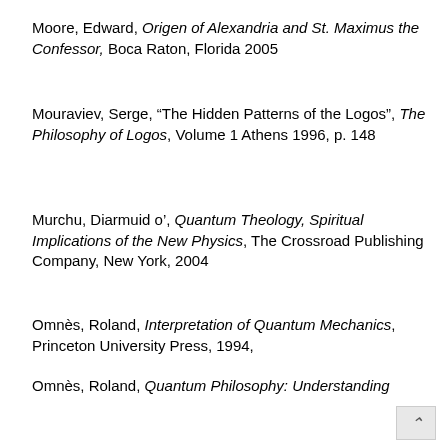Moore, Edward, Origen of Alexandria and St. Maximus the Confessor, Boca Raton, Florida 2005
Mouraviev, Serge, “The Hidden Patterns of the Logos”, The Philosophy of Logos, Volume 1 Athens 1996, p. 148
Murchu, Diarmuid o’, Quantum Theology, Spiritual Implications of the New Physics, The Crossroad Publishing Company, New York, 2004
Omnès, Roland, Interpretation of Quantum Mechanics, Princeton University Press, 1994,
Omnès, Roland, Quantum Philosophy: Understanding and Interpreting Contemporary Science, Princeton University Press, 1999
Penrose, Roger, Abner Shimony, Nancy Cartwright, Stephen Hawking, The Large, the Small and the Human Mind, Cambridge University Press, 1997